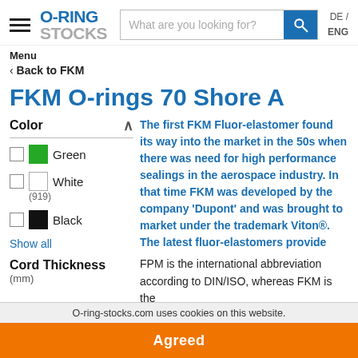O-RING STOCKS — What are you looking for? DE / ENG
Menu
‹ Back to FKM
FKM O-rings 70 Shore A
Color
Green
White (919)
Black
Show all
Cord Thickness
(mm)
The first FKM Fluor-elastomer found its way into the market in the 50s when there was need for high performance sealings in the aerospace industry. In that time FKM was developed by the company 'Dupont' and was brought to market under the trademark Viton®. The latest fluor-elastomers provide
FPM is the international abbreviation according to DIN/ISO, whereas FKM is the
O-ring-stocks.com uses cookies on this website. Agreed